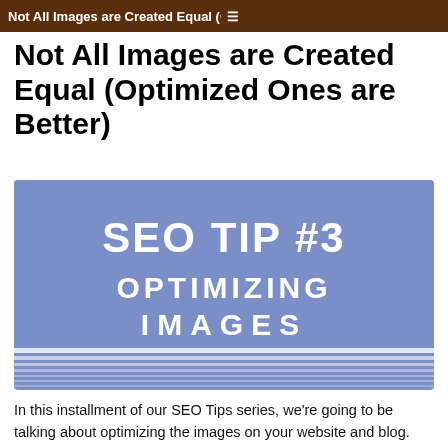Not All Images are Created Equal (Optimized Ones are Better)
Not All Images are Created Equal (Optimized Ones are Better)
[Figure (infographic): Blue infographic image with bold white text reading 'SEO TIP #3 OPTIMIZING IMAGES' on a medium blue background with horizontal white stripe decorations at the bottom]
In this installment of our SEO Tips series, we're going to be talking about optimizing the images on your website and blog.